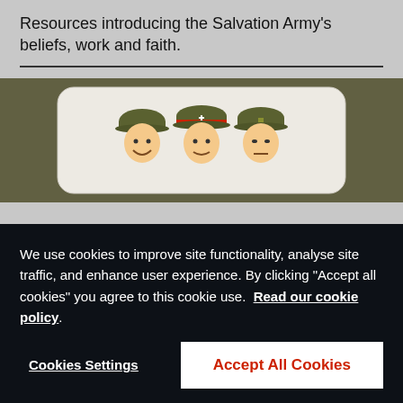Resources introducing the Salvation Army's beliefs, work and faith.
[Figure (illustration): Three cartoon soldiers wearing olive-green military hats, with smiley faces, displayed on a rounded card against a dark olive/camouflage background.]
We use cookies to improve site functionality, analyse site traffic, and enhance user experience. By clicking "Accept all cookies" you agree to this cookie use. Read our cookie policy
Cookies Settings
Accept All Cookies